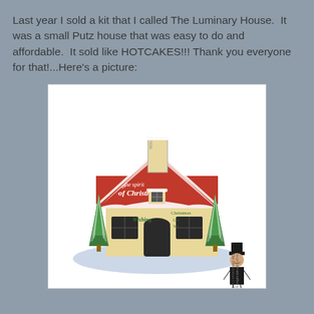Last year I sold a kit that I called The Luminary House.  It was a small Putz house that was easy to do and affordable.  It sold like HOTCAKES!!! Thank you everyone for that!...Here's a picture:
[Figure (photo): A Putz-style Christmas luminary house craft kit decorated with red patterned paper reading 'the spirit of Christmas', snow-covered roof, miniature bottle brush trees on the sides, a small arched door and window, and a watermark logo of 'The Gentleman Crafter' in the lower right corner.]